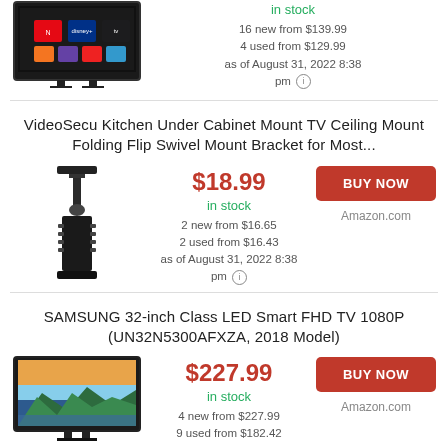[Figure (photo): TV product image (partial, top of page)]
in stock
16 new from $139.99
4 used from $129.99
as of August 31, 2022 8:38 pm
VideoSecu Kitchen Under Cabinet Mount TV Ceiling Mount Folding Flip Swivel Mount Bracket for Most...
[Figure (photo): VideoSecu ceiling mount bracket product image]
$18.99
in stock
2 new from $16.65
2 used from $16.43
as of August 31, 2022 8:38 pm
Amazon.com
SAMSUNG 32-inch Class LED Smart FHD TV 1080P (UN32N5300AFXZA, 2018 Model)
[Figure (photo): Samsung 32-inch TV product image]
$227.99
in stock
4 new from $227.99
9 used from $182.42
Amazon.com